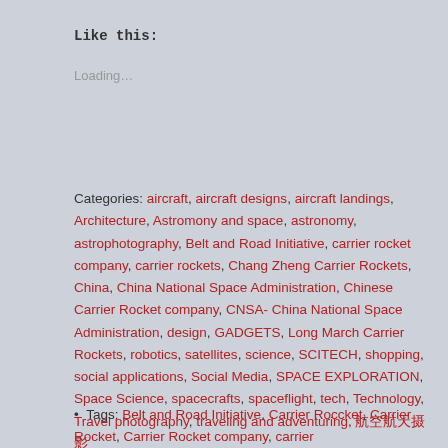Like this:
Loading...
Categories: aircraft, aircraft designs, aircraft landings, Architecture, Astromony and space, astronomy, astrophotography, Belt and Road Initiative, carrier rocket company, carrier rockets, Chang Zheng Carrier Rockets, China, China National Space Administration, Chinese Carrier Rocket company, CNSA- China National Space Administration, design, GADGETS, Long March Carrier Rockets, robotics, satellites, science, SCITECH, shopping, social applications, Social Media, SPACE EXPLORATION, Space Science, spacecrafts, spaceflight, tech, Technology, Travel photography, traveling and adventuring, 航空航天摄影
Tags: Belt and Road Initiative, Carrier Roccket, Carrier Rocket, Carrier Rocket company, carrier